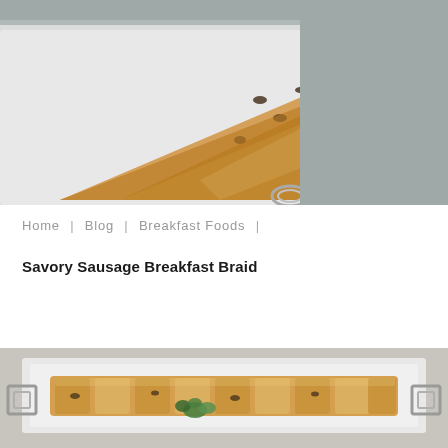[Figure (photo): Close-up photo of golden-brown baked bread or pastry with dark spots (likely raisins or olives) on a white plate, with a metallic utensil visible at the bottom edge.]
Home  |  Blog  |  Breakfast Foods  |
Savory Sausage Breakfast Braid
[Figure (photo): Photo of a savory sausage breakfast braid pastry on a white rectangular serving dish with metal handles on each side. The braided pastry is golden brown with visible filling and garnished with a green herb (parsley).]